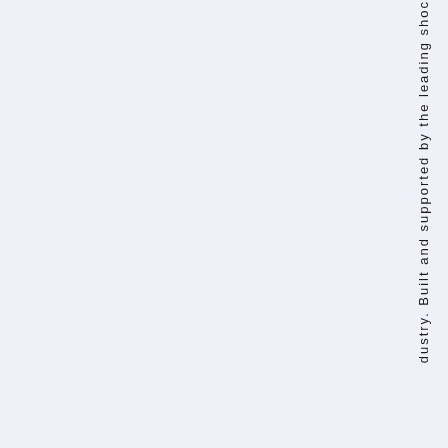dustry. Built and supported by the leading shoc